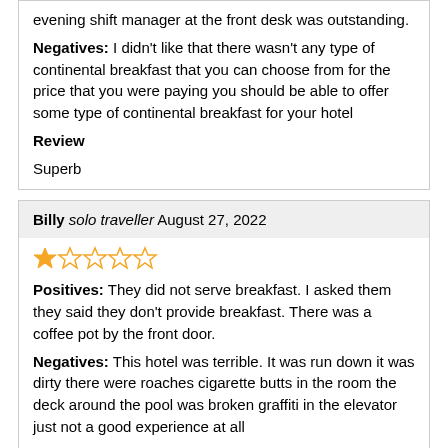evening shift manager at the front desk was outstanding.
Negatives: I didn't like that there wasn't any type of continental breakfast that you can choose from for the price that you were paying you should be able to offer some type of continental breakfast for your hotel
Review
Superb
Billy solo traveller August 27, 2022
[Figure (other): Star rating: 1 out of 5 stars (one filled orange star, four empty stars)]
Positives: They did not serve breakfast. I asked them they said they don't provide breakfast. There was a coffee pot by the front door.
Negatives: This hotel was terrible. It was run down it was dirty there were roaches cigarette butts in the room the deck around the pool was broken graffiti in the elevator just not a good experience at all
Review
I traveled 10 hours to